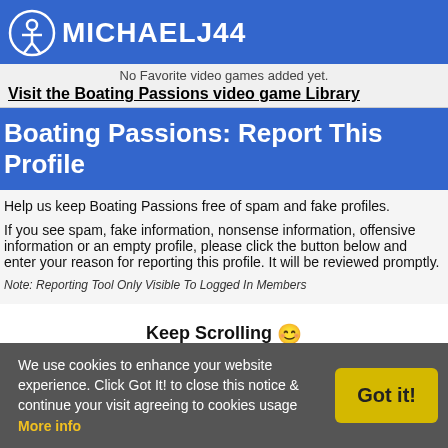MICHAELJ44
No Favorite video games added yet.
Visit the Boating Passions video game Library
Boating Passions: Report This Profile
Help us keep Boating Passions free of spam and fake profiles.

If you see spam, fake information, nonsense information, offensive information or an empty profile, please click the button below and enter your reason for reporting this profile. It will be reviewed promptly.
Note: Reporting Tool Only Visible To Logged In Members
Keep Scrolling 😊
We use cookies to enhance your website experience. Click Got It! to close this notice & continue your visit agreeing to cookies usage More info